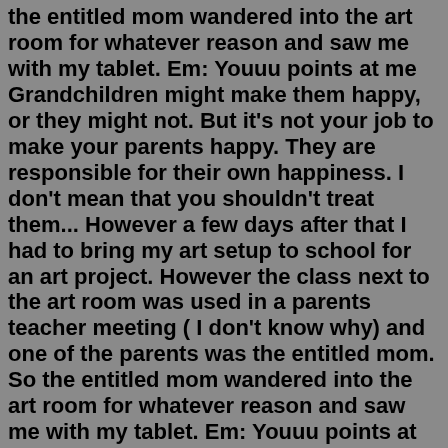the entitled mom wandered into the art room for whatever reason and saw me with my tablet. Em: Youuu points at me Grandchildren might make them happy, or they might not. But it's not your job to make your parents happy. They are responsible for their own happiness. I don't mean that you shouldn't treat them... However a few days after that I had to bring my art setup to school for an art project. However the class next to the art room was used in a parents teacher meeting ( I don't know why) and one of the parents was the entitled mom. So the entitled mom wandered into the art room for whatever reason and saw me with my tablet. Em: Youuu points at me Unlike parents, grandparents don't often see their grandchildren. Most don't have the pleasure of watching them The more you stay connected with them, the likely they will miss and want you. Like parents, grandparents get frustrated with grandchildren too. Make sure that no matter how angry...Why do parents want grandchildren? I want to be a grandmother for many reasons. I love my